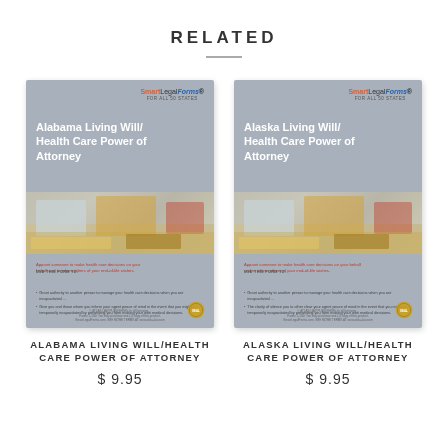RELATED
[Figure (illustration): Book cover for Alabama Living Will/Health Care Power of Attorney by SmartLegalForms]
ALABAMA LIVING WILL/HEALTH CARE POWER OF ATTORNEY
$9.95
[Figure (illustration): Book cover for Alaska Living Will/Health Care Power of Attorney by SmartLegalForms]
ALASKA LIVING WILL/HEALTH CARE POWER OF ATTORNEY
$9.95